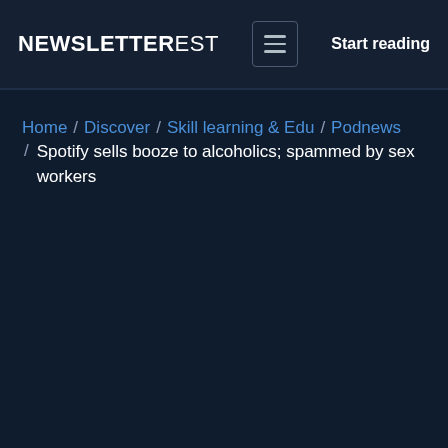NEWSLETTEREST  Start reading
Home / Discover / Skill learning & Edu / Podnews / Spotify sells booze to alcoholics; spammed by sex workers